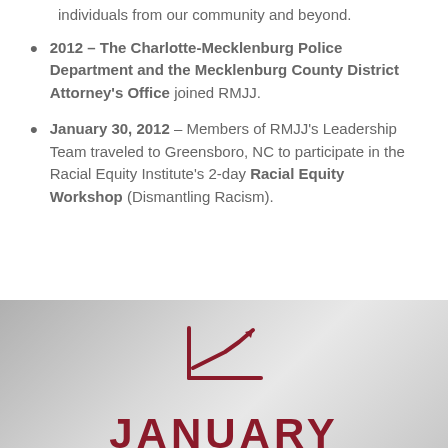individuals from our community and beyond.
2012 – The Charlotte-Mecklenburg Police Department and the Mecklenburg County District Attorney's Office joined RMJJ.
January 30, 2012 – Members of RMJJ's Leadership Team traveled to Greensboro, NC to participate in the Racial Equity Institute's 2-day Racial Equity Workshop (Dismantling Racism).
[Figure (infographic): A dark red/maroon chart icon showing an upward trending line graph on a coordinate axis, used as a decorative section divider icon.]
JANUARY